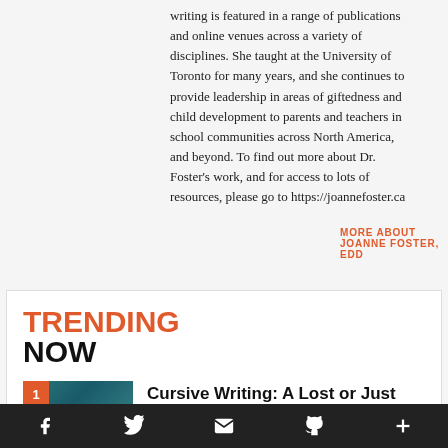writing is featured in a range of publications and online venues across a variety of disciplines. She taught at the University of Toronto for many years, and she continues to provide leadership in areas of giftedness and child development to parents and teachers in school communities across North America, and beyond. To find out more about Dr. Foster's work, and for access to lots of resources, please go to https://joannefoster.ca
MORE ABOUT JOANNE FOSTER, EDD
TRENDING NOW
[Figure (photo): Thumbnail image with number 1 badge showing cursive writing on chalkboard]
Cursive Writing: A Lost or Just Cause?